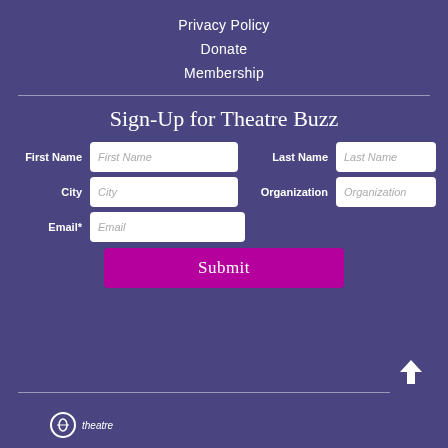Privacy Policy
Donate
Membership
Sign-Up for Theatre Buzz
First Name  Last Name  City  Organization  Email*  Submit